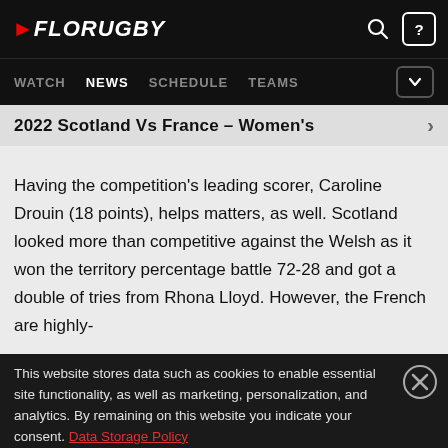FloRugby
WATCH  NEWS  SCHEDULE  TEAMS
2022 Scotland Vs France - Women's
Having the competition's leading scorer, Caroline Drouin (18 points), helps matters, as well. Scotland looked more than competitive against the Welsh as it won the territory percentage battle 72-28 and got a double of tries from Rhona Lloyd. However, the French are highly-
This website stores data such as cookies to enable essential site functionality, as well as marketing, personalization, and analytics. By remaining on this website you indicate your consent. Data Storage Policy